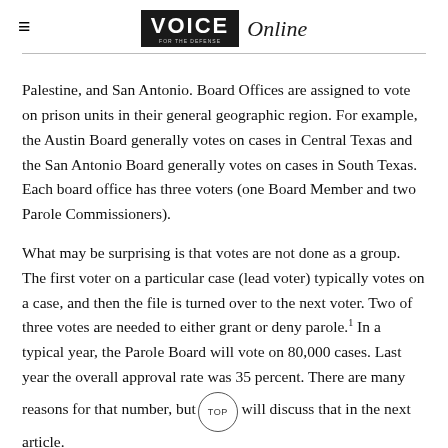VOICE Online
Palestine, and San Antonio. Board Offices are assigned to vote on prison units in their general geographic region. For example, the Austin Board generally votes on cases in Central Texas and the San Antonio Board generally votes on cases in South Texas. Each board office has three voters (one Board Member and two Parole Commissioners).
What may be surprising is that votes are not done as a group. The first voter on a particular case (lead voter) typically votes on a case, and then the file is turned over to the next voter. Two of three votes are needed to either grant or deny parole.1 In a typical year, the Parole Board will vote on 80,000 cases. Last year the overall approval rate was 35 percent. There are many reasons for that number, but will discuss that in the next article.